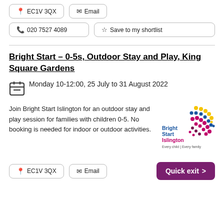EC1V 3QX  Email
020 7527 4089  Save to my shortlist
Bright Start - 0-5s, Outdoor Stay and Play, King Square Gardens
Monday 10-12:00, 25 July to 31 August 2022
Join Bright Start Islington for an outdoor stay and play session for families with children 0-5. No booking is needed for indoor or outdoor activities.
[Figure (logo): Bright Start Islington logo - colorful dot pattern forming a figure, with text 'Bright Start Islington Every child | Every family']
EC1V 3QX  Email  Quick exit >